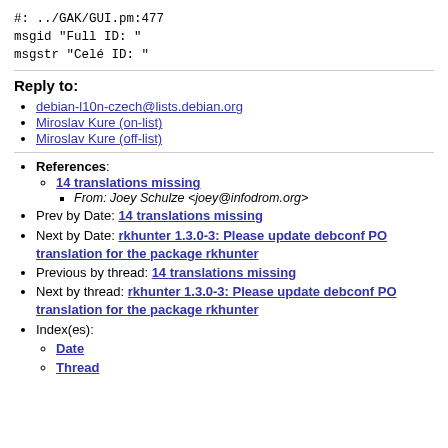#: ../GAK/GUI.pm:477
msgid "Full ID: "
msgstr "Celé ID: "
Reply to:
debian-l10n-czech@lists.debian.org
Miroslav Kure (on-list)
Miroslav Kure (off-list)
References: 14 translations missing — From: Joey Schulze <joey@infodrom.org>
Prev by Date: 14 translations missing
Next by Date: rkhunter 1.3.0-3: Please update debconf PO translation for the package rkhunter
Previous by thread: 14 translations missing
Next by thread: rkhunter 1.3.0-3: Please update debconf PO translation for the package rkhunter
Index(es): Date, Thread